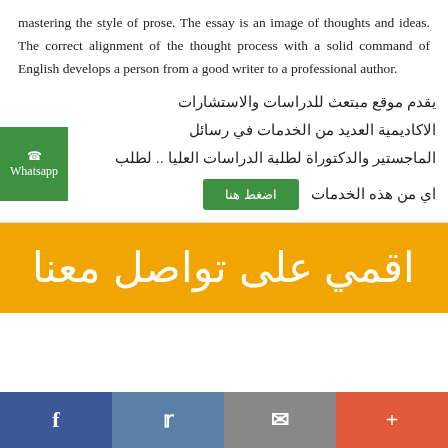mastering the style of prose. The essay is an image of thoughts and ideas. The correct alignment of the thought process with a solid command of English develops a person from a good writer to a professional author.
يقدم موقع مبتعث للدراسات والاستشارات الاكاديمية العديد من الخدمات في رسائل الماجستير والدكتوراة لطلبة الدراسات العليا .. لطلب اي من هذه الخدمات
اضغط هنا
اقمي على تواصل معنا
f  t  ✉  +